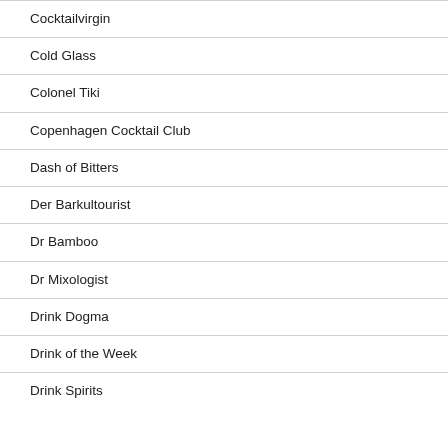Cocktailvirgin
Cold Glass
Colonel Tiki
Copenhagen Cocktail Club
Dash of Bitters
Der Barkultourist
Dr Bamboo
Dr Mixologist
Drink Dogma
Drink of the Week
Drink Spirits